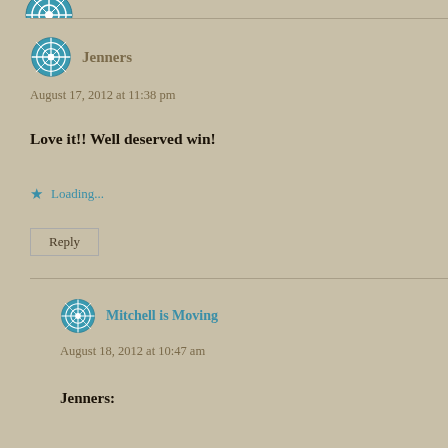[Figure (other): Partial avatar icon at top of page (cropped)]
Jenners
August 17, 2012 at 11:38 pm
Love it!! Well deserved win!
Loading...
Reply
Mitchell is Moving
August 18, 2012 at 10:47 am
Jenners: